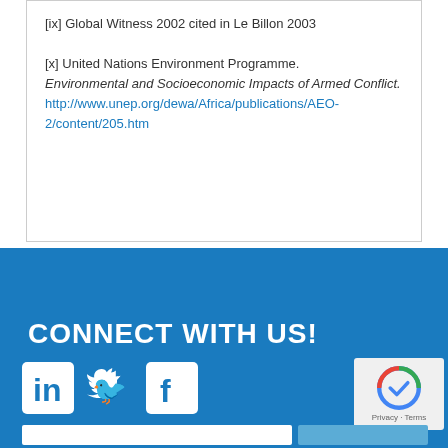[ix] Global Witness 2002 cited in Le Billon 2003
[x] United Nations Environment Programme. Environmental and Socioeconomic Impacts of Armed Conflict. http://www.unep.org/dewa/Africa/publications/AEO-2/content/205.htm
CONNECT WITH US!
[Figure (logo): LinkedIn, Twitter, and Facebook social media icons in white on blue background]
[Figure (other): reCAPTCHA widget with Privacy and Terms text]